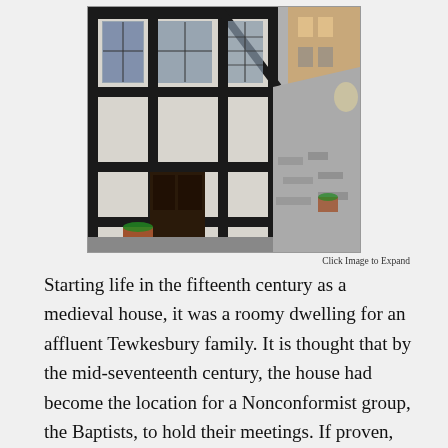[Figure (photo): Photograph of a medieval half-timbered building in Tewkesbury, showing a narrow alley with black and white timber-framed structures, stone paving, and flower pots.]
Click Image to Expand
Starting life in the fifteenth century as a medieval house, it was a roomy dwelling for an affluent Tewkesbury family. It is thought that by the mid-seventeenth century, the house had become the location for a Nonconformist group, the Baptists, to hold their meetings. If proven, this would make the Chapel the oldest of its type still in existence. During the eighteenth century, the house was transformed into a simply decorated chapel with a pulpit, baptistery and pastor's room. In